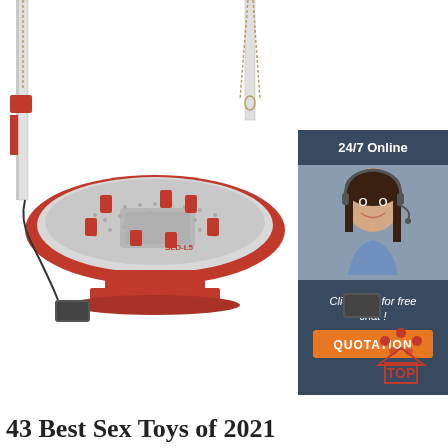[Figure (photo): Auto body frame repair bench machine (SLD-L5) — red and white metal frame alignment table with multiple clamps, on a pedestal base with electric motor/pump, plus overhead chain hoists on poles in background. Bottom right shows a small electric pump unit and a 'TOP' icon with dots.]
[Figure (photo): Chat widget overlay on right side: dark blue/gray box with '24/7 Online' text, photo of smiling woman with headset (customer support agent), 'Click here for free chat!' text, and orange QUOTATION button.]
43 Best Sex Toys of 2021